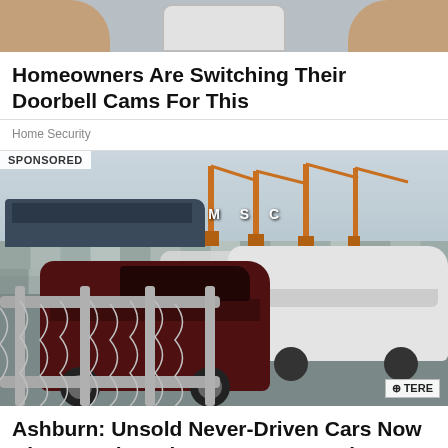[Figure (photo): Partial top of page showing hands holding a device, grey background]
Homeowners Are Switching Their Doorbell Cams For This
Home Security
SPONSORED
[Figure (photo): Large outdoor car lot/port filled with rows of parked SUVs (Toyota FJ Cruisers) including a dark maroon one in foreground, white ones to the right, chain-link fence, shipping cranes and a ship labeled MSC in the background. TERE label in bottom right corner.]
Ashburn: Unsold Never-Driven Cars Now Almost Being Given Away: See Prices